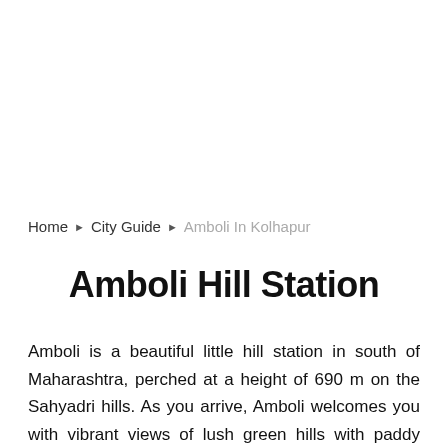Home ▶ City Guide ▶ Amboli In Kolhapur
Amboli Hill Station
Amboli is a beautiful little hill station in south of Maharashtra, perched at a height of 690 m on the Sahyadri hills. As you arrive, Amboli welcomes you with vibrant views of lush green hills with paddy fields, fresh mountain air and several viewpoints providing